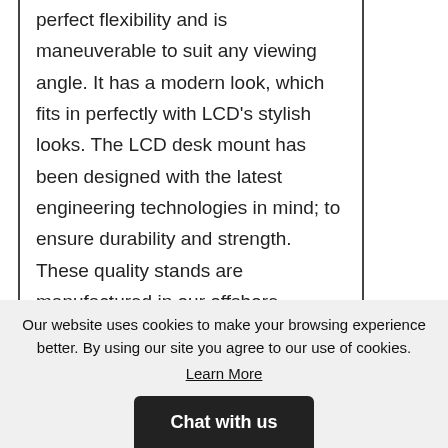perfect flexibility and is maneuverable to suit any viewing angle. It has a modern look, which fits in perfectly with LCD's stylish looks. The LCD desk mount has been designed with the latest engineering technologies in mind; to ensure durability and strength. These quality stands are manufactured in our offshore manufacturing plant, adhering to strict quality guidelines that enable us to deliver value to our customers.
Our website uses cookies to make your browsing experience better. By using our site you agree to our use of cookies. Learn More
Chat with us